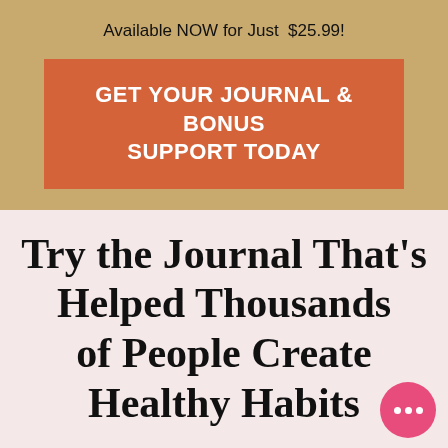Available NOW for Just  $25.99!
GET YOUR JOURNAL & BONUS SUPPORT TODAY
Try the Journal That's Helped Thousands of People Create Healthy Habits